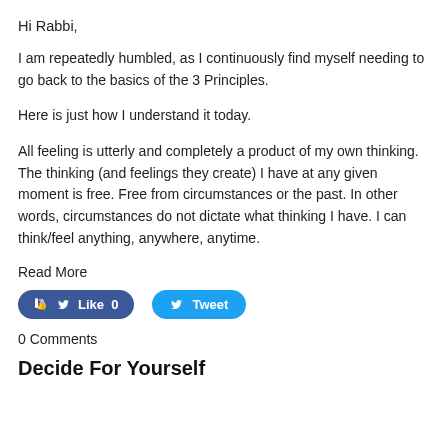Hi Rabbi,
I am repeatedly humbled, as I continuously find myself needing to go back to the basics of the 3 Principles.
Here is just how I understand it today.
All feeling is utterly and completely a product of my own thinking. The thinking (and feelings they create) I have at any given moment is free. Free from circumstances or the past. In other words, circumstances do not dictate what thinking I have. I can think/feel anything, anywhere, anytime.
Read More
[Figure (other): Social sharing buttons: Facebook Like (0) button in blue and Twitter Tweet button in blue]
0 Comments
Decide For Yourself